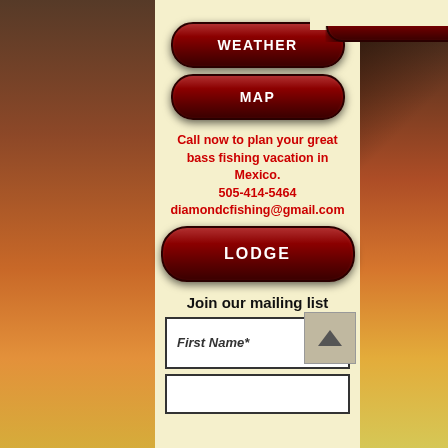[Figure (screenshot): Mobile app screenshot showing navigation buttons (WEATHER, MAP, LODGE), contact information, and mailing list signup form on a cream background with sunset/tropical background on sides]
WEATHER
MAP
Call now to plan your great bass fishing vacation in Mexico.
505-414-5464
diamondcfishing@gmail.com
LODGE
Join our mailing list
First Name*